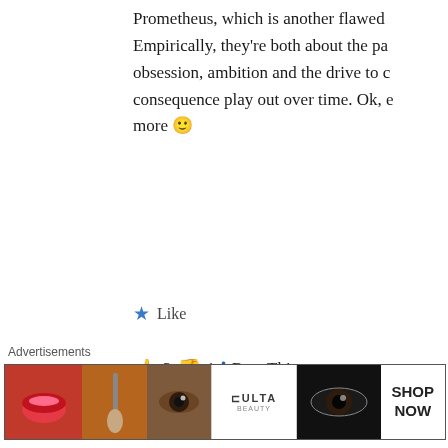Prometheus, which is another flawed... Empirically, they're both about the pa... obsession, ambition and the drive to c... consequence play out over time. Ok, e... more 🙂
★ Like
👍 3 👎 1 ℹ Rate This
[Figure (illustration): Blue square avatar with white power/on symbol icon for user Supergirl]
Supergirl says:
April 11, 2016 at 12:10 am
This was epic the best I watched the movie ag...
★ Like
[Figure (illustration): Close/X button circle symbol]
Advertisements
[Figure (illustration): ULTA Beauty advertisement banner with makeup imagery and SHOP NOW call to action]